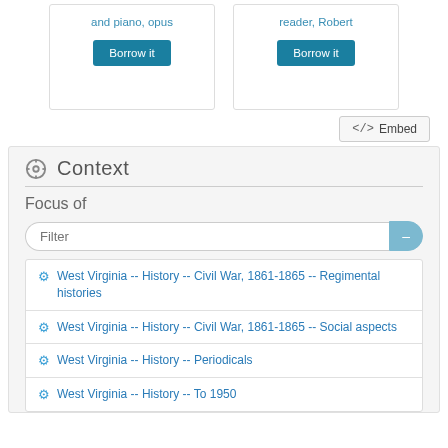and piano, opus
reader, Robert
Borrow it
Borrow it
</> Embed
Context
Focus of
Filter
West Virginia -- History -- Civil War, 1861-1865 -- Regimental histories
West Virginia -- History -- Civil War, 1861-1865 -- Social aspects
West Virginia -- History -- Periodicals
West Virginia -- History -- To 1950